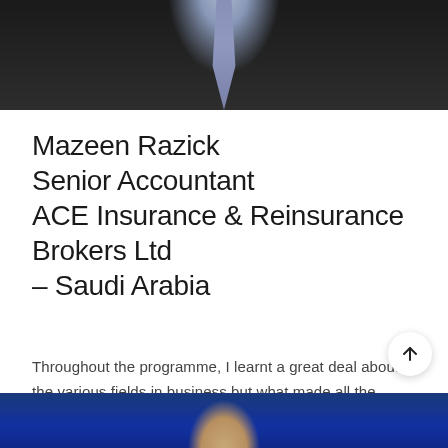[Figure (photo): Top portion of a man in a dark suit and blue/grey tie, cropped at chest level, dark background]
Mazeen Razick
Senior Accountant
ACE Insurance & Reinsurance Brokers Ltd – Saudi Arabia
Throughout the programme, I learnt a great deal about the various fields in business but what made all the difference to me is the encouragement of critical and analytical thinking. I thank the combined help of lecturers and college staff of Kensley Graduate School!
[Figure (photo): Bottom portion of another person, showing top of head, against a blue/navy background]